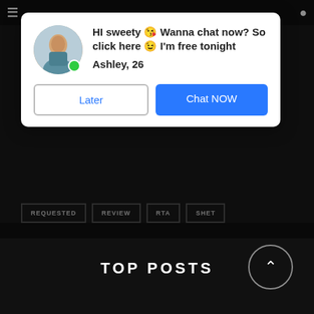[Figure (screenshot): Chat popup overlay with avatar of woman, message 'HI sweety 😘 Wanna chat now? So click here 😉 I'm free tonight', name 'Ashley, 26', and two buttons: 'Later' and 'Chat NOW']
REQUESTED
REVIEW
RTA
SHET
SALT NICOTINE
SALT POD
SQUONK
STARTER KIT
STRAWBERRY
SUBOHM
TOBACCO
VANILLA
VAPORESSO
WATERMELON
WOTOFO
TOP POSTS